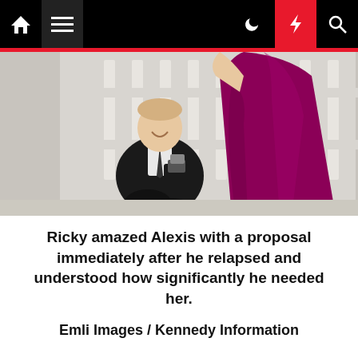Navigation bar with home, menu, moon, bolt, and search icons
[Figure (photo): A man in a black suit kneeling on one knee holding a ring box, proposing to a woman in a magenta/purple dress, outdoors on a white railed deck or balcony.]
Ricky amazed Alexis with a proposal immediately after he relapsed and understood how significantly he needed her.
Emli Images / Kennedy Information